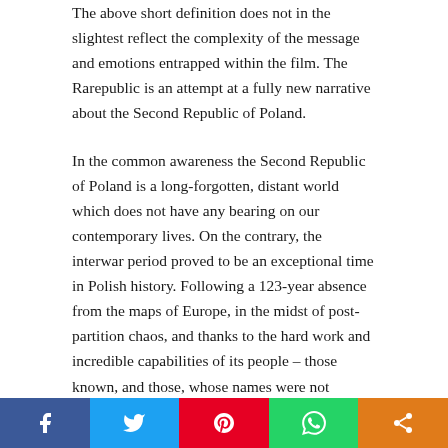The above short definition does not in the slightest reflect the complexity of the message and emotions entrapped within the film. The Rarepublic is an attempt at a fully new narrative about the Second Republic of Poland.
In the common awareness the Second Republic of Poland is a long-forgotten, distant world which does not have any bearing on our contemporary lives. On the contrary, the interwar period proved to be an exceptional time in Polish history. Following a 123-year absence from the maps of Europe, in the midst of post-partition chaos, and thanks to the hard work and incredible capabilities of its people – those known, and those, whose names were not recorded
[Figure (other): Social media sharing bar with icons for Facebook (blue), Twitter (light blue), Pinterest (red), WhatsApp (green), and Share (orange)]